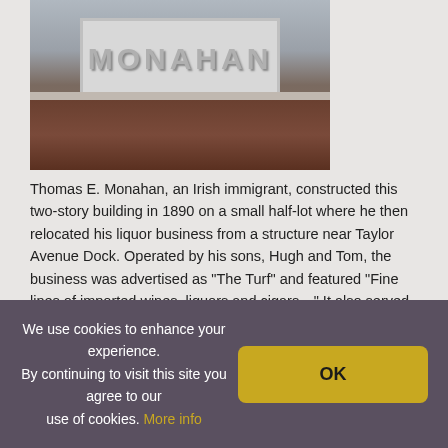[Figure (photo): A building facade showing a sign reading 'MONAHAN' in large letters on a grey panel, with brick visible below.]
Thomas E. Monahan, an Irish immigrant, constructed this two-story building in 1890 on a small half-lot where he then relocated his liquor business from a structure near Taylor Avenue Dock. Operated by his sons, Hugh and Tom, the business was advertised as "The Turf" and featured "Fine lines of imported wines, liquors and cigars…" It also served as a betting parlor for regional sporting events.
The building's façade was built in the High Victorian Italianate style with top panels bearing the date and builder's name.
In 1892, the boom town went bust, and Monahan converted his business into a saloon that catered to those unable to afford the fine wines and liquors of earlier years.
We use cookies to enhance your experience. By continuing to visit this site you agree to our use of cookies. More info